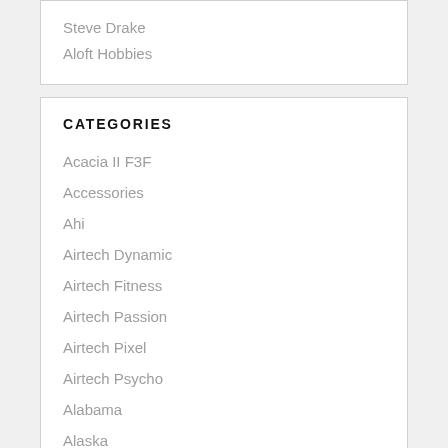Steve Drake
Aloft Hobbies
CATEGORIES
Acacia II F3F
Accessories
Ahi
Airtech Dynamic
Airtech Fitness
Airtech Passion
Airtech Pixel
Airtech Psycho
Alabama
Alaska
Alula-TREK
Arizona